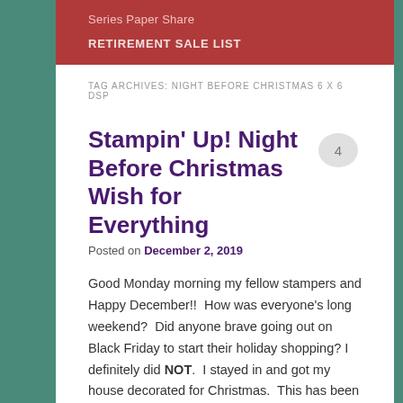Series Paper Share
RETIREMENT SALE LIST
TAG ARCHIVES: NIGHT BEFORE CHRISTMAS 6 X 6 DSP
Stampin' Up! Night Before Christmas Wish for Everything
Posted on December 2, 2019
Good Monday morning my fellow stampers and Happy December!!  How was everyone's long weekend?  Did anyone brave going out on Black Friday to start their holiday shopping? I definitely did NOT.  I stayed in and got my house decorated for Christmas.  This has been a tradition of mine for years to decorate the weekend after